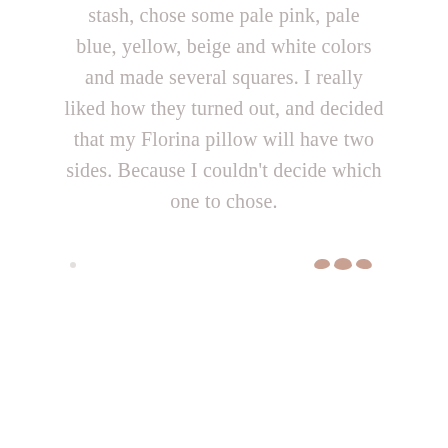stash, chose some pale pink, pale blue, yellow, beige and white colors and made several squares. I really liked how they turned out, and decided that my Florina pillow will have two sides. Because I couldn't decide which one to chose.